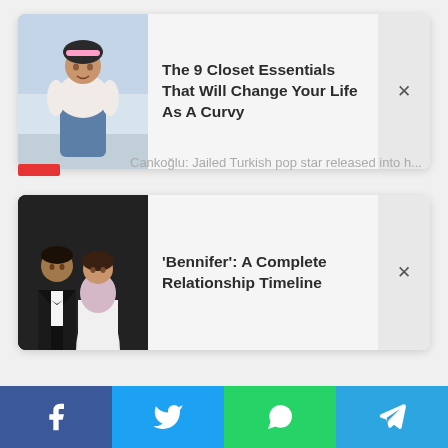[Figure (screenshot): News article card 1: thumbnail of a curvy woman in jeans and white top with pink accessories, with title 'The 9 Closet Essentials That Will Change Your Life As A Curvy']
The 9 Closet Essentials That Will Change Your Life As A Curvy
Cankoğlu: Jailed Turkish pop star released into h...
[Figure (screenshot): News article card 2: thumbnail of a man in tuxedo and woman in white dress (Ben Affleck and Jennifer Lopez), with title ''Bennifer': A Complete Relationship Timeline']
'Bennifer': A Complete Relationship Timeline
[Figure (infographic): Bottom social share bar with Facebook, Twitter, WhatsApp, and Telegram icons]